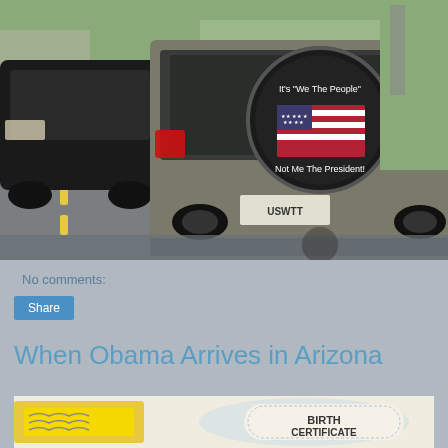[Figure (photo): Back of a Jeep SUV at a traffic light with a spare tire cover reading 'It's We The People Not Me The President' with an American flag design, and a license plate reading USWTT. A black SUV is visible to the left, and the lower portion shows a reflection on a wet surface.]
No comments:
Share
When Obama Arrives in Arizona
[Figure (illustration): Partial view of an illustration showing what appears to be a yellow sign on the left and a Birth Certificate document on the right with decorative border pattern. The word BIRTH CERTIFICATE is visible.]